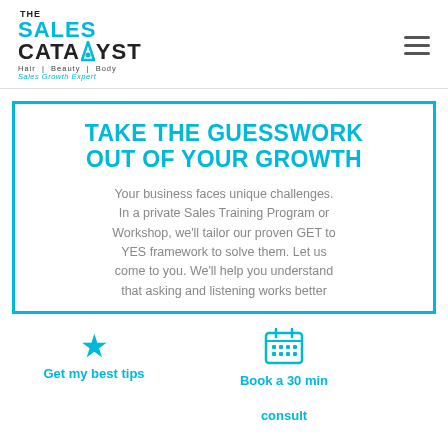[Figure (logo): The Sales Catalyst logo with tagline Hair | Beauty | Body, Sales Growth Expert]
TAKE THE GUESSWORK OUT OF YOUR GROWTH
Your business faces unique challenges. In a private Sales Training Program or Workshop, we'll tailor our proven GET to YES framework to solve them. Let us come to you. We'll help you understand that asking and listening works better
Get my best tips
Book a 30 min consult